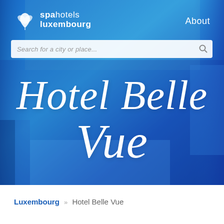[Figure (screenshot): Spa Hotels Luxembourg website screenshot showing the Hotel Belle Vue page with blue gradient hero background, logo in top left, About link top right, search bar, and large italic cursive title 'Hotel Belle Vue' in white.]
spa hotels luxembourg | About
Search for a city or place...
Hotel Belle Vue
Luxembourg » Hotel Belle Vue